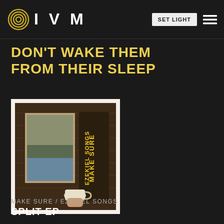IVM
DON'T WAKE THEM FROM THEIR SLEEP
[Figure (photo): Album cover photo: a hand holding a white mug in front of a wooden wall with artwork. Text on the image reads 'MAKE SURE EZEKIEL SONGS' arranged vertically. The image is framed with a light/cream polaroid-style border.]
MAKE SURE / EZEKIEL SONGS
SPLIT EP